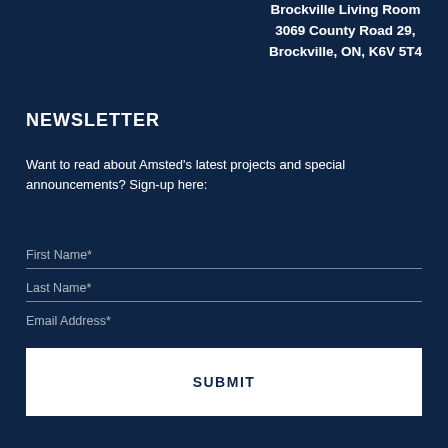Brockville Living Room
3069 County Road 29,
Brockville, ON, K6V 5T4
NEWSLETTER
Want to read about Amsted's latest projects and special announcements? Sign-up here:
First Name*
Last Name*
Email Address*
SUBMIT